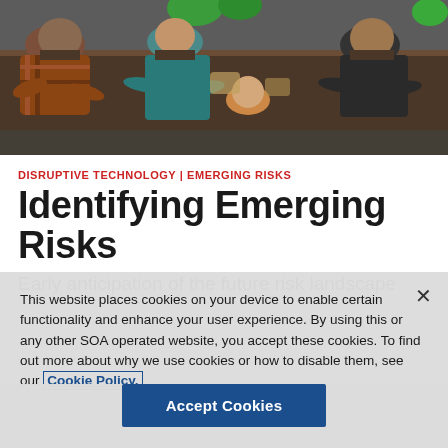[Figure (photo): Overhead view of people sitting around a table working together with puzzle pieces]
DISRUPTIVE TECHNOLOGY | EMERGING RISKS
Identifying Emerging Risks
Early anticipation of the future risk landscape
This website places cookies on your device to enable certain functionality and enhance your user experience. By using this or any other SOA operated website, you accept these cookies. To find out more about why we use cookies or how to disable them, see our Cookie Policy.
Accept Cookies